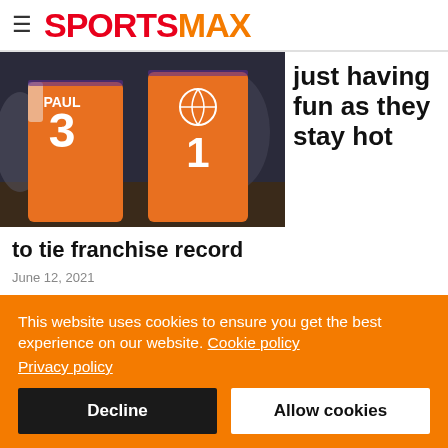SPORTSMAX
[Figure (photo): Two Phoenix Suns players in orange jerseys on the basketball court. One jersey reads PAUL 3, the other shows number 1 with a basketball logo.]
just having fun as they stay hot to tie franchise record
June 12, 2021
Devin Booker insisted the Phoenix Suns are keeping their eye on the prize, after tying a franchise record with a sixth successive...
This website uses cookies to ensure you get the best experience on our website. Cookie policy Privacy policy